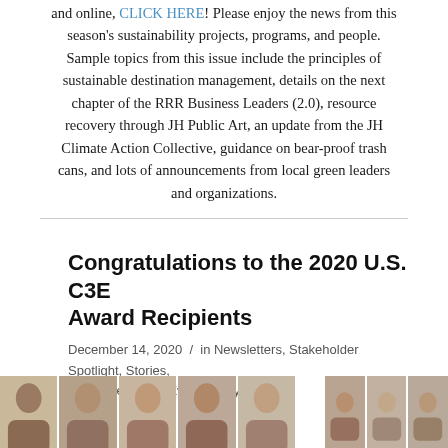and online, CLICK HERE! Please enjoy the news from this season's sustainability projects, programs, and people. Sample topics from this issue include the principles of sustainable destination management, details on the next chapter of the RRR Business Leaders (2.0), resource recovery through JH Public Art, an update from the JH Climate Action Collective, guidance on bear-proof trash cans, and lots of announcements from local green leaders and organizations.
Congratulations to the 2020 U.S. C3E Award Recipients
December 14, 2020 / in Newsletters, Stakeholder Spotlight, Stories, YTCC News and Events / by Bailey Collins
[Figure (photo): A strip of portrait photos of multiple people at the bottom of the page]